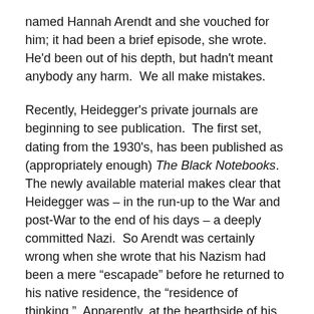named Hannah Arendt and she vouched for him; it had been a brief episode, she wrote.  He'd been out of his depth, but hadn't meant anybody any harm.  We all make mistakes.
Recently, Heidegger's private journals are beginning to see publication.  The first set, dating from the 1930's, has been published as (appropriately enough) The Black Notebooks.  The newly available material makes clear that Heidegger was – in the run-up to the War and post-War to the end of his days – a deeply committed Nazi.  So Arendt was certainly wrong when she wrote that his Nazism had been a mere “escapade” before he returned to his native residence, the “residence of thinking.”  Apparently, at the hearthside of his residence of thinking, the flame of Nazism was kept lit and burning.